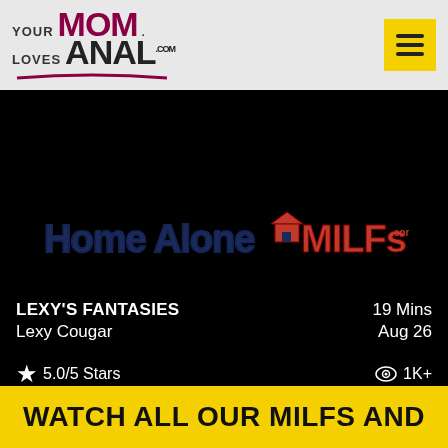[Figure (logo): YourMomLovesAnal.com website logo with stylized text in dark red and black]
[Figure (logo): Home Alone MILFs .com banner logo with bold 3D text in dark blue and red]
LEXY'S FANTASIES  19 Mins
Lexy Cougar  Aug 26
5.0/5 Stars  1K+
WATCH ALL OUR MILFS AND